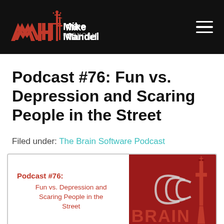Mike Mandel Hypnosis
Podcast #76: Fun vs. Depression and Scaring People in the Street
Filed under: The Brain Software Podcast
[Figure (illustration): Podcast episode card image with red text 'Podcast #76: Fun vs. Depression and Scaring People in the Street' on white left half, and red right half with CN Tower and radio wave graphics above 'BRAIN' text]